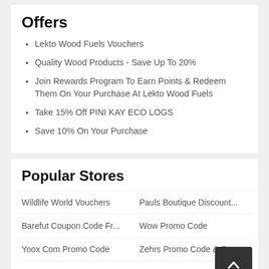Offers
Lekto Wood Fuels Vouchers
Quality Wood Products - Save Up To 20%
Join Rewards Program To Earn Points & Redeem Them On Your Purchase At Lekto Wood Fuels
Take 15% Off PINI KAY ECO LOGS
Save 10% On Your Purchase
Popular Stores
Wildlife World Vouchers
Pauls Boutique Discount...
Barefut Coupon Code Fr...
Wow Promo Code
Yoox Com Promo Code
Zehrs Promo Code & Co...
Apmex Promo
Accessory Jack Promoti...